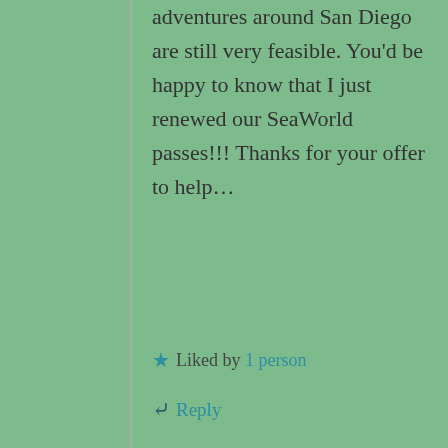adventures around San Diego are still very feasible. You'd be happy to know that I just renewed our SeaWorld passes!!! Thanks for your offer to help…
Liked by 1 person
Reply
Joan
February 9, 2020 at 7:39 am
Thank you so much for sharing this part of you walk in life. I feel you are preparing me for whatever God has in store. Again and always,